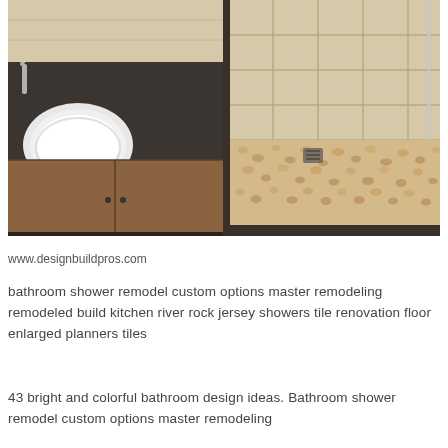[Figure (photo): Overhead view of a modern bathroom remodel showing a dark granite vanity countertop with an undermount white sink on the left, wood-grain tile flooring in the center, and a walk-in shower on the right with pebble stone floor tiles and large beige/tan wall tiles. A silver faucet is visible on the vanity.]
www.designbuildpros.com
bathroom shower remodel custom options master remodeling remodeled build kitchen river rock jersey showers tile renovation floor enlarged planners tiles
43 bright and colorful bathroom design ideas. Bathroom shower remodel custom options master remodeling